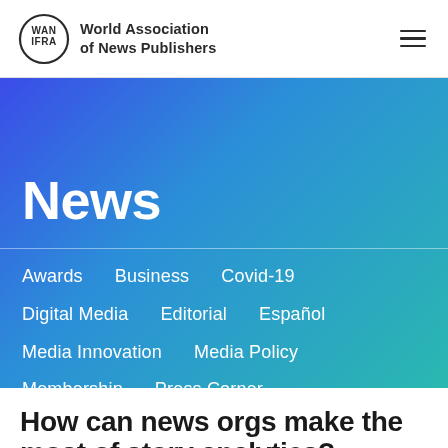World Association of News Publishers
News
Awards
Business
Covid-19
Digital Media
Editorial
Español
Media Innovation
Media Policy
Membership
Press Corner
Press Freedom
Print-production
Women in News
SUBSCRIBE
How can news orgs make the most of story analytics?